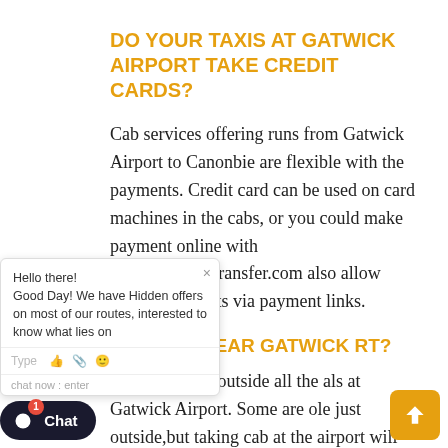DO YOUR TAXIS AT GATWICK AIRPORT TAKE CREDIT CARDS?
Cab services offering runs from Gatwick Airport to Canonbie are flexible with the payments. Credit card can be used on card machines in the cabs, or you could make payment online with www.gbairportransfer.com also allow online payments via payment links.
ARE CABS NEAR GATWICK AIRPORT?
...ands are ranks outside all the ...als at Gatwick Airport. Some are ...ole just outside,but taking cab at the airport will incur double the charges compare to our prebook private hire cabs